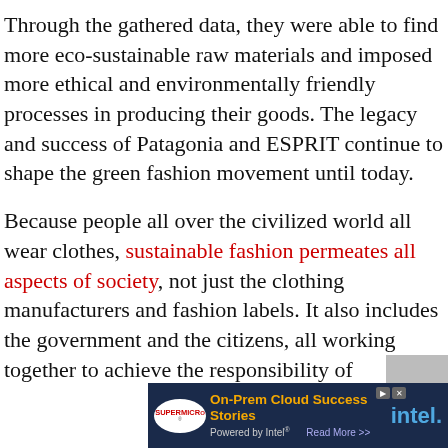Through the gathered data, they were able to find more eco-sustainable raw materials and imposed more ethical and environmentally friendly processes in producing their goods. The legacy and success of Patagonia and ESPRIT continue to shape the green fashion movement until today.
Because people all over the civilized world all wear clothes, sustainable fashion permeates all aspects of society, not just the clothing manufacturers and fashion labels. It also includes the government and the citizens, all working together to achieve the responsibility of
[Figure (other): Advertisement banner for Supermicro On-Prem Cloud Success Stories powered by Intel, with Read More button]